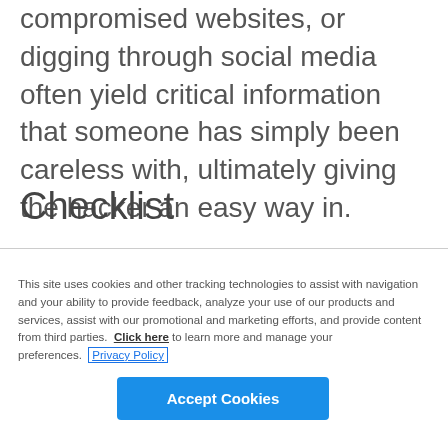compromised websites, or digging through social media often yield critical information that someone has simply been careless with, ultimately giving the hacker an easy way in.
Checklist
This site uses cookies and other tracking technologies to assist with navigation and your ability to provide feedback, analyze your use of our products and services, assist with our promotional and marketing efforts, and provide content from third parties.  Click here to learn more and manage your preferences.  Privacy Policy
Accept Cookies